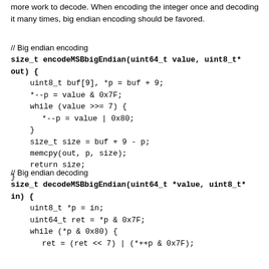more work to decode. When encoding the integer once and decoding it many times, big endian encoding should be favored.
// Big endian encoding
size_t encodeMSBbigEndian(uint64_t value, uint8_t* out) {
    uint8_t buf[9], *p = buf + 9;
    *--p = value & 0x7F;
    while (value >>= 7) {
        *--p = value | 0x80;
    }
    size_t size = buf + 9 - p;
    memcpy(out, p, size);
    return size;
}
// Big endian decoding
size_t decodeMSBbigEndian(uint64_t *value, uint8_t* in) {
    uint8_t *p = in;
    uint64_t ret = *p & 0x7F;
    while (*p & 0x80) {
        ret = (ret << 7) | (*++p & 0x7F);